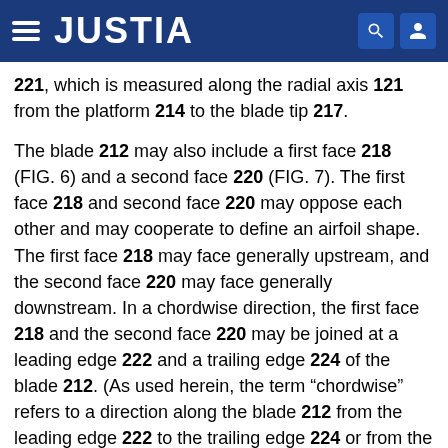JUSTIA
221, which is measured along the radial axis 121 from the platform 214 to the blade tip 217.
The blade 212 may also include a first face 218 (FIG. 6) and a second face 220 (FIG. 7). The first face 218 and second face 220 may oppose each other and may cooperate to define an airfoil shape. The first face 218 may face generally upstream, and the second face 220 may face generally downstream. In a chordwise direction, the first face 218 and the second face 220 may be joined at a leading edge 222 and a trailing edge 224 of the blade 212. (As used herein, the term “chordwise” refers to a direction along the blade 212 from the leading edge 222 to the trailing edge 224 or from the trailing edge 224 to the leading edge 222.) The mean axis 123 (FIG. 4) may extend chordwise between the leading edge 222 and the trailing edge 224 at a substantially